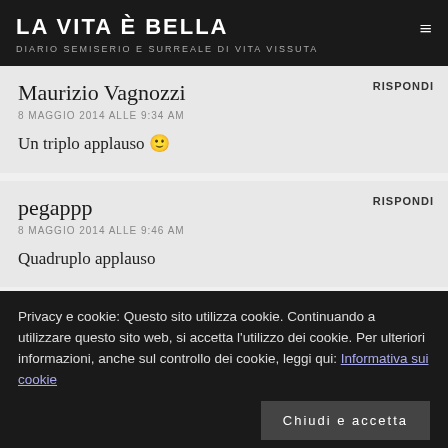LA VITA È BELLA
DIARIO SEMISERIO E SURREALE DI VITA VISSUTA
Maurizio Vagnozzi
8 MAGGIO 2014 ALLE 9:34 AM
Un triplo applauso 🙂
pegappp
8 MAGGIO 2014 ALLE 9:46 AM
Quadruplo applauso
Privacy e cookie: Questo sito utilizza cookie. Continuando a utilizzare questo sito web, si accetta l'utilizzo dei cookie. Per ulteriori informazioni, anche sul controllo dei cookie, leggi qui: Informativa sui cookie
Chiudi e accetta
è la Vita in sé. Ci sono però anche abissi di errore che mi